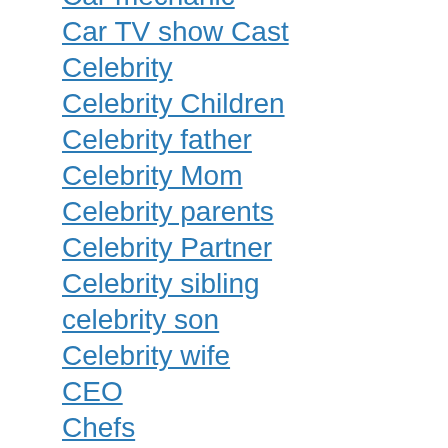Car mechanic
Car TV show Cast
Celebrity
Celebrity Children
Celebrity father
Celebrity Mom
Celebrity parents
Celebrity Partner
Celebrity sibling
celebrity son
Celebrity wife
CEO
Chefs
Child artist